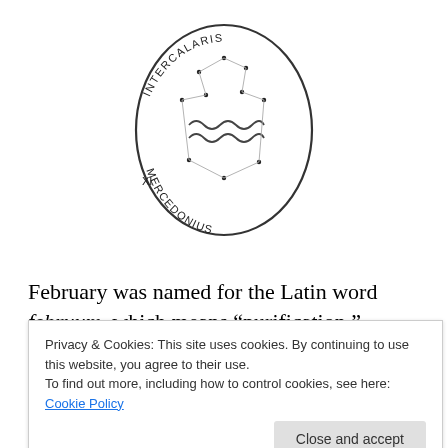[Figure (illustration): Circular illustration with constellation/Aquarius symbol inside, text around border reading 'INTERCALARIS' at top and 'MERCEDONIUS' at bottom, with 'XI' on the left side. Stars and constellation lines are drawn inside.]
February was named for the Latin word februum, which means “purification.”  Romans did not like even numbers (they regarded odd numbers as lucky).  February was the
Privacy & Cookies: This site uses cookies. By continuing to use this website, you agree to their use.
To find out more, including how to control cookies, see here: Cookie Policy
all other months—28 days.  Whenever Mercedonius was